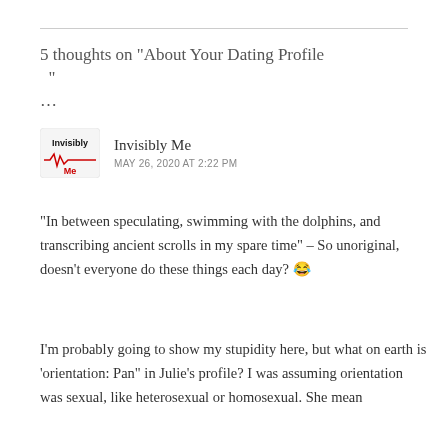5 thoughts on “About Your Dating Profile ”…
Invisibly Me
MAY 26, 2020 AT 2:22 PM
“In between speculating, swimming with the dolphins, and transcribing ancient scrolls in my spare time” – So unoriginal, doesn't everyone do these things each day? 😂
I’m probably going to show my stupidity here, but what on earth is 'orientation: Pan” in Julie’s profile? I was assuming orientation was sexual, like heterosexual or homosexual. She mean